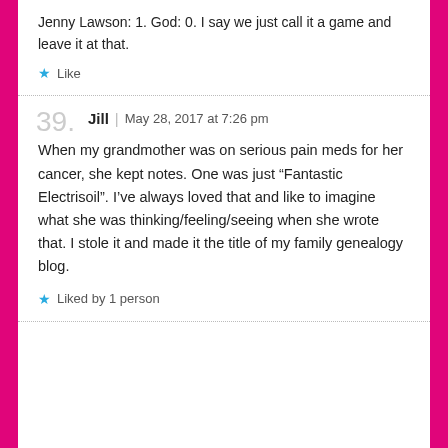Jenny Lawson: 1. God: 0. I say we just call it a game and leave it at that.
Like
39. Jill | May 28, 2017 at 7:26 pm
When my grandmother was on serious pain meds for her cancer, she kept notes. One was just “Fantastic Electrisoil”. I’ve always loved that and like to imagine what she was thinking/feeling/seeing when she wrote that. I stole it and made it the title of my family genealogy blog.
Liked by 1 person